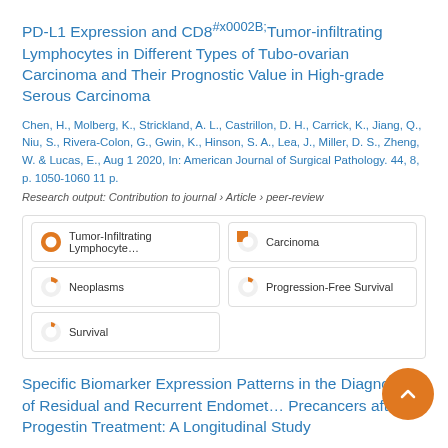PD-L1 Expression and CD8⁺Tumor-infiltrating Lymphocytes in Different Types of Tubo-ovarian Carcinoma and Their Prognostic Value in High-grade Serous Carcinoma
Chen, H., Molberg, K., Strickland, A. L., Castrillon, D. H., Carrick, K., Jiang, Q., Niu, S., Rivera-Colon, G., Gwin, K., Hinson, S. A., Lea, J., Miller, D. S., Zheng, W. & Lucas, E., Aug 1 2020, In: American Journal of Surgical Pathology. 44, 8, p. 1050-1060 11 p.
Research output: Contribution to journal › Article › peer-review
[Figure (infographic): Five badge-style keyword chips with orange pie/donut icons indicating percentage coverage: Tumor-Infiltrating Lymphocytes (100%), Carcinoma (~55%), Neoplasms (~25%), Progression-Free Survival (~18%), Survival (~15%)]
Specific Biomarker Expression Patterns in the Diagnosis of Residual and Recurrent Endometrial Precancers after Progestin Treatment: A Longitudinal Study